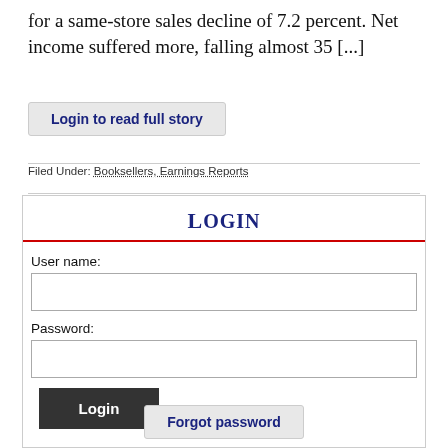for a same-store sales decline of 7.2 percent. Net income suffered more, falling almost 35 [...]
Login to read full story
Filed Under: Booksellers, Earnings Reports
Login
User name:
Password:
Login
Forgot password